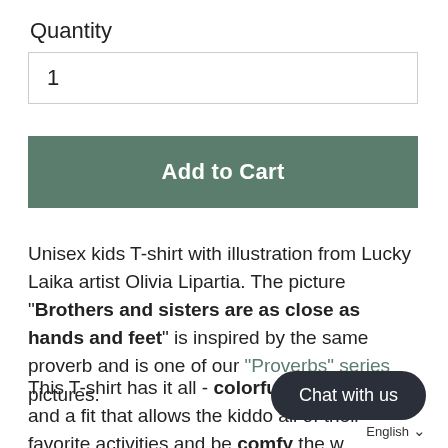Quantity
1
Add to Cart
Unisex kids T-shirt with illustration from Lucky Laika artist Olivia Lipartia. The picture "Brothers and sisters are as close as hands and feet" is inspired by the same proverb and is one of our "Proverbs" series pictures.
This T-shirt has it all - colorful desi[gn that looks] great, and a fit that allows the kiddo[s to move] all of their favorite activities and be comfy the w[hole day].
Chat with us
English